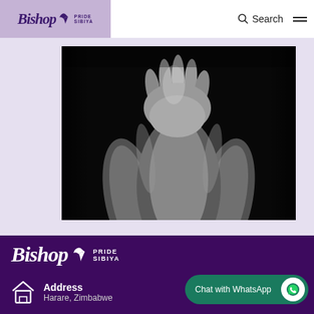Bishop Pride Sibiya — Search (navigation header)
[Figure (photo): Black and white dramatic photo of hands pressed against glass or surface with muscular arms, dark studio lighting]
[Figure (logo): Bishop Pride Sibiya logo in white on dark purple footer background, with stylized bird icon]
Address
Harare, Zimbabwe
Chat with WhatsApp